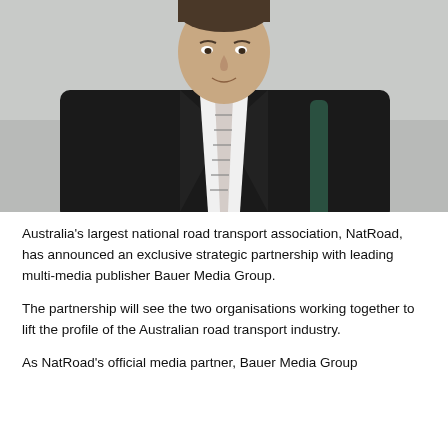[Figure (photo): Professional headshot photo of a man in a dark suit and striped tie, seated, with a light grey background.]
Australia's largest national road transport association, NatRoad, has announced an exclusive strategic partnership with leading multi-media publisher Bauer Media Group.
The partnership will see the two organisations working together to lift the profile of the Australian road transport industry.
As NatRoad's official media partner, Bauer Media Group